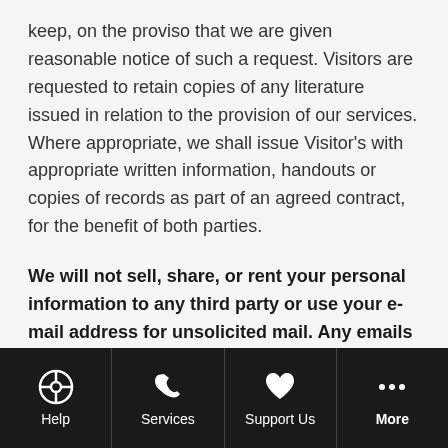keep, on the proviso that we are given reasonable notice of such a request. Visitors are requested to retain copies of any literature issued in relation to the provision of our services. Where appropriate, we shall issue Visitor's with appropriate written information, handouts or copies of records as part of an agreed contract, for the benefit of both parties.
We will not sell, share, or rent your personal information to any third party or use your e-mail address for unsolicited mail. Any emails sent by this Company will only be in connection with the provision of agreed services and products.
Disclaimer
Help | Services | Support Us | More